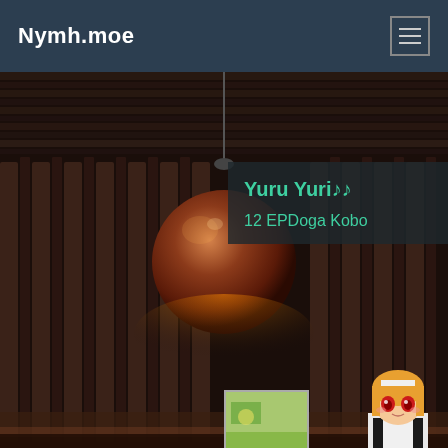Nymh.moe
[Figure (photo): Dark atmospheric interior photo showing a suspended copper/bronze disco ball lamp hanging from a slatted wooden ceiling with vertical panel wall decoration. Warm amber lighting below.]
Yuru Yuri♪♪
12 EPDoga Kobo
[Figure (photo): Small thumbnail image, light green/landscape colored small square]
Yuuki Yuuna wa Yuusha-bu Shozoku
1 EP Toon Studio
[Figure (illustration): Anime character in maid outfit with blonde hair and red eyes, visible in bottom right corner of the page.]